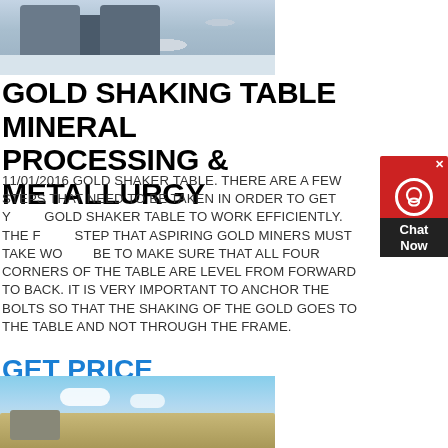[Figure (photo): Industrial mining or drilling equipment on site, machinery visible with bags/containers, outdoor setting]
GOLD SHAKING TABLE MINERAL PROCESSING & METALLURGY
11/01/2016 GOLD SHAKER TABLE. THERE ARE A FEW STEPS THAT NEED TO BE TAKEN IN ORDER TO GET YOUR GOLD SHAKER TABLE TO WORK EFFICIENTLY. THE FIRST STEP THAT ASPIRING GOLD MINERS MUST TAKE WOULD BE TO MAKE SURE THAT ALL FOUR CORNERS OF THE TABLE ARE LEVEL FROM FORWARD TO BACK. IT IS VERY IMPORTANT TO ANCHOR THE BOLTS SO THAT THE SHAKING OF THE GOLD GOES TO THE TABLE AND NOT THROUGH THE FRAME.
GET PRICE
[Figure (photo): Outdoor photo of mining/crushing equipment against a blue sky with white clouds]